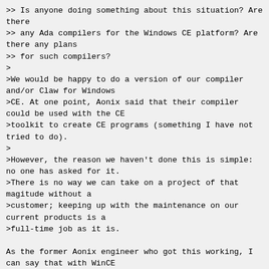>> Is anyone doing something about this situation? Are there
>> any Ada compilers for the Windows CE platform? Are there any plans
>> for such compilers?
>
>We would be happy to do a version of our compiler and/or Claw for Windows
>CE. At one point, Aonix said that their compiler could be used with the CE
>toolkit to create CE programs (something I have not tried to do).
>
>However, the reason we haven't done this is simple: no one has asked for it.
>There is no way we can take on a project of that magitude without a
>customer; keeping up with the maintenance on our current products is a
>full-time job as it is.

As the former Aonix engineer who got this working, I can say that with WinCE
2.0, a basic capability (for x86) was trivial.  One simply created a winmain
style application, and linked with the Windows/CE SDK linker, using the
"wince startup" package.